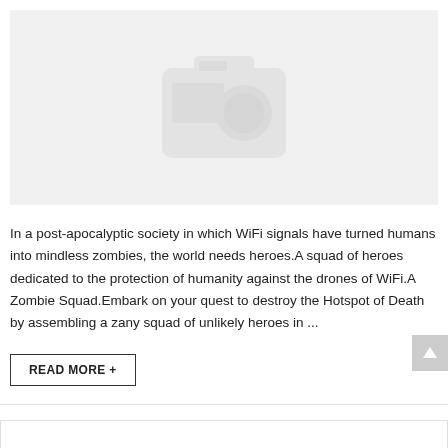[Figure (photo): Placeholder image with camera icon on grey background]
In a post-apocalyptic society in which WiFi signals have turned humans into mindless zombies, the world needs heroes.A squad of heroes dedicated to the protection of humanity against the drones of WiFi.A Zombie Squad.Embark on your quest to destroy the Hotspot of Death by assembling a zany squad of unlikely heroes in ...
READ MORE +